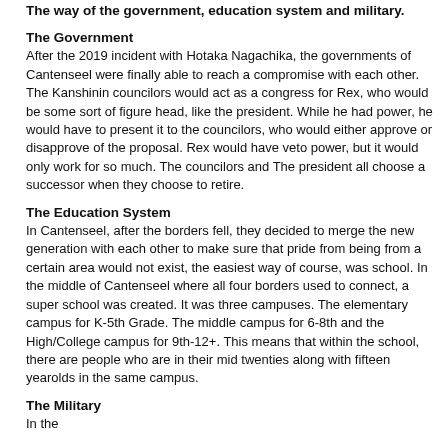The way of the government, education system and military.
The Government
After the 2019 incident with Hotaka Nagachika, the governments of Cantenseel were finally able to reach a compromise with each other. The Kanshinin councilors would act as a congress for Rex, who would be some sort of figure head, like the president. While he had power, he would have to present it to the councilors, who would either approve or disapprove of the proposal. Rex would have veto power, but it would only work for so much. The councilors and The president all choose a successor when they choose to retire.
The Education System
In Cantenseel, after the borders fell, they decided to merge the new generation with each other to make sure that pride from being from a certain area would not exist, the easiest way of course, was school. In the middle of Cantenseel where all four borders used to connect, a super school was created. It was three campuses. The elementary campus for K-5th Grade. The middle campus for 6-8th and the High/College campus for 9th-12+. This means that within the school, there are people who are in their mid twenties along with fifteen yearolds in the same campus.
The Military
In the future, the last sentence is cut off at the bottom of the page.